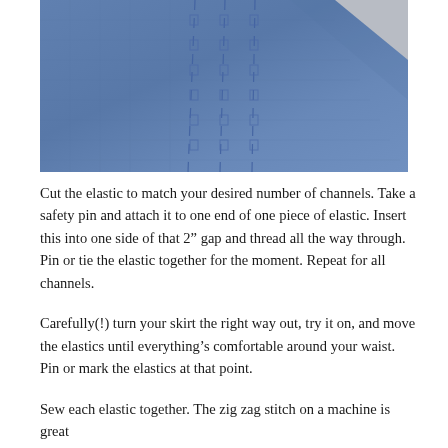[Figure (photo): Close-up photograph of blue fabric/cloth showing stitched channels or seams, against a light grey background. The fabric appears to be a blue woven textile with parallel vertical stitch lines visible.]
Cut the elastic to match your desired number of channels. Take a safety pin and attach it to one end of one piece of elastic. Insert this into one side of that 2” gap and thread all the way through. Pin or tie the elastic together for the moment. Repeat for all channels.
Carefully(!) turn your skirt the right way out, try it on, and move the elastics until everything’s comfortable around your waist. Pin or mark the elastics at that point.
Sew each elastic together. The zig zag stitch on a machine is great